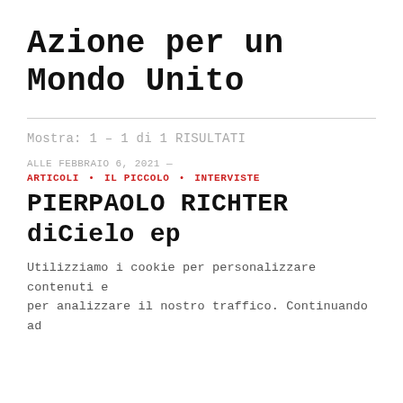Azione per un Mondo Unito
Mostra: 1 – 1 di 1 RISULTATI
ALLE FEBBRAIO 6, 2021 —
ARTICOLI • IL PICCOLO • INTERVISTE
PIERPAOLO RICHTER diCielo ep
Utilizziamo i cookie per personalizzare contenuti e per analizzare il nostro traffico. Continuando ad